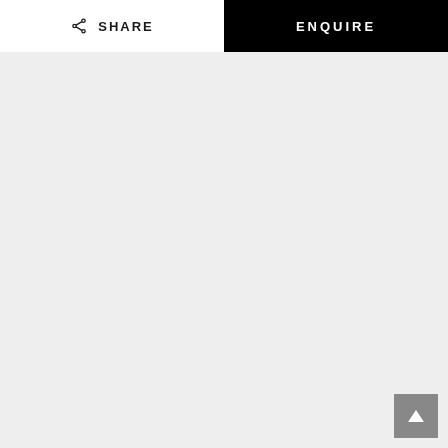SHARE  ENQUIRE
[Figure (screenshot): Light grey empty content area filling most of the page]
[Figure (other): Grey square scroll-to-top button with white upward triangle arrow, positioned bottom-right]